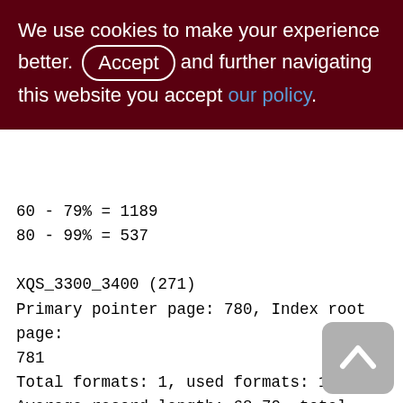We use cookies to make your experience better. By accepting and further navigating this website you accept our policy.
60 - 79% = 1189
80 - 99% = 537

XQS_3300_3400 (271)
Primary pointer page: 780, Index root page: 781
Total formats: 1, used formats: 1
Average record length: 68.70, total records: 676424
Average version length: 69.06, total versions: 1929, max versions: 1
Average fragment length: 0.00, total fragments: 0, max fragments: 0